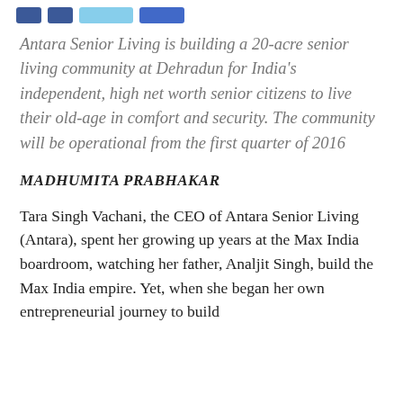[Social media icons bar]
Antara Senior Living is building a 20-acre senior living community at Dehradun for India's independent, high net worth senior citizens to live their old-age in comfort and security. The community will be operational from the first quarter of 2016
MADHUMITA PRABHAKAR
Tara Singh Vachani, the CEO of Antara Senior Living (Antara), spent her growing up years at the Max India boardroom, watching her father, Analjit Singh, build the Max India empire. Yet, when she began her own entrepreneurial journey to build